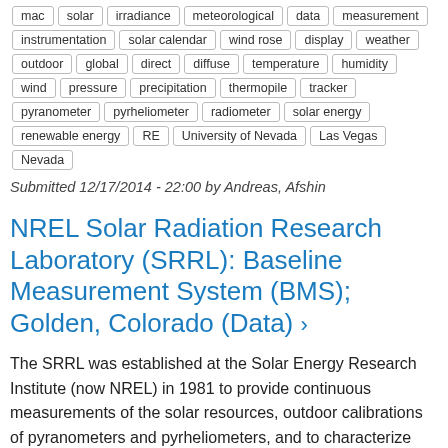mac  solar  irradiance  meteorological  data  measurement  instrumentation  solar calendar  wind rose  display  weather  outdoor  global  direct  diffuse  temperature  humidity  wind  pressure  precipitation  thermopile  tracker  pyranometer  pyrheliometer  radiometer  solar energy  renewable energy  RE  University of Nevada  Las Vegas  Nevada
Submitted 12/17/2014 - 22:00 by Andreas, Afshin
NREL Solar Radiation Research Laboratory (SRRL): Baseline Measurement System (BMS); Golden, Colorado (Data) ›
The SRRL was established at the Solar Energy Research Institute (now NREL) in 1981 to provide continuous measurements of the solar resources, outdoor calibrations of pyranometers and pyrheliometers, and to characterize commercially available...